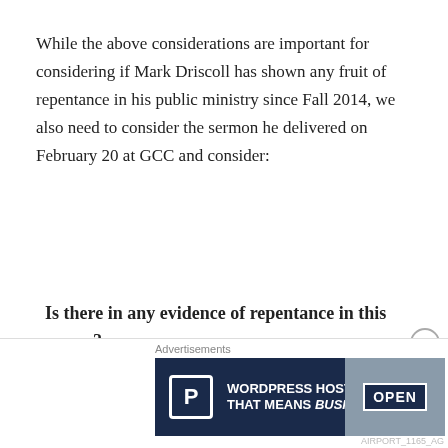While the above considerations are important for considering if Mark Driscoll has shown any fruit of repentance in his public ministry since Fall 2014, we also need to consider the sermon he delivered on February 20 at GCC and consider:
Is there in any evidence of repentance in this sermon?
While many things could be noted from this sermon, for the sake of brevity I will highlight three themes which I
Advertisements
[Figure (infographic): Advertisement banner for WordPress Hosting showing a P logo, text 'WORDPRESS HOSTING THAT MEANS BUSINESS.' and an OPEN sign image]